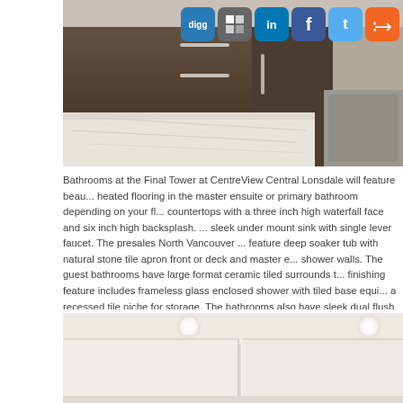[Figure (photo): Kitchen photo showing dark wood cabinets with metal bar handles and a light-colored stone countertop with social media icons (digg, share, LinkedIn, Facebook, Twitter, RSS) overlaid in top right corner]
Bathrooms at the Final Tower at CentreView Central Lonsdale will feature beautiful heated flooring in the master ensuite or primary bathroom depending on your fl... countertops with a three inch high waterfall face and six inch high backsplash. ... sleek under mount sink with single lever faucet. The presales North Vancouver ... feature deep soaker tub with natural stone tile apron front or deck and master e... shower walls. The guest bathrooms have large format ceramic tiled surrounds ... finishing feature includes frameless glass enclosed shower with tiled base equi... a recessed tile niche for storage. The bathrooms also have sleek dual flush Ko... bathrooms. Final touches include contemporary and functional mirror, wall scon...
[Figure (photo): Interior bathroom photo showing white walls, ceiling with recessed lighting, and a glass shower panel]